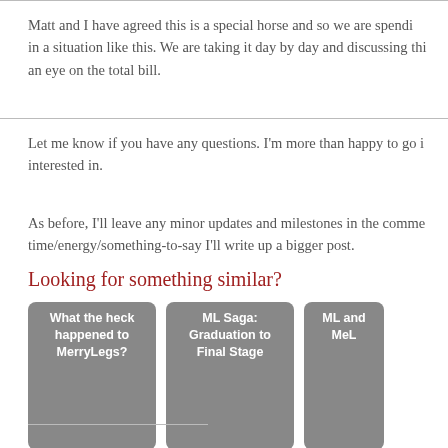Matt and I have agreed this is a special horse and so we are spending in a situation like this. We are taking it day by day and discussing thi… an eye on the total bill.
Let me know if you have any questions. I'm more than happy to go in… interested in.
As before, I'll leave any minor updates and milestones in the comme… time/energy/something-to-say I'll write up a bigger post.
Looking for something similar?
[Figure (other): Three related post cards: 'What the heck happened to MerryLegs?', 'ML Saga: Graduation to Final Stage', and 'ML and MeL...' with grey image placeholders]